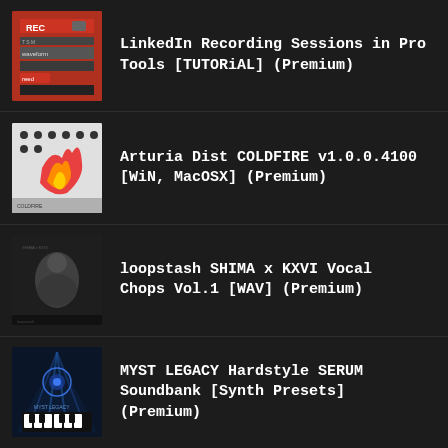LinkedIn Recording Sessions in Pro Tools [TUTORiAL] (Premium)
Arturia Dist COLDFIRE v1.0.0.4100 [WiN, MacOSX] (Premium)
loopstash SHIMA x KXVI Vocal Chops Vol.1 [WAV] (Premium)
MYST LEGACY Hardstyle SERUM Soundbank [Synth Presets] (Premium)